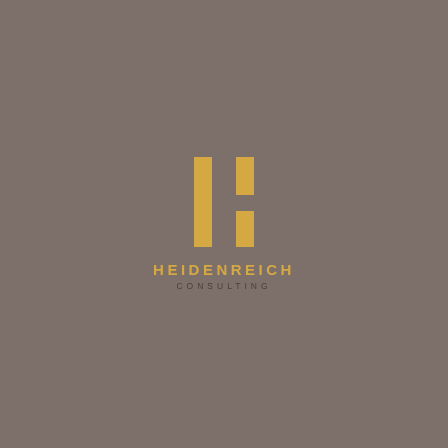[Figure (logo): Heidenreich Consulting logo: stylized H icon made of golden rectangles on a warm grey background, above the text HEIDENREICH in gold and CONSULTING in dark grey, all centered on the page.]